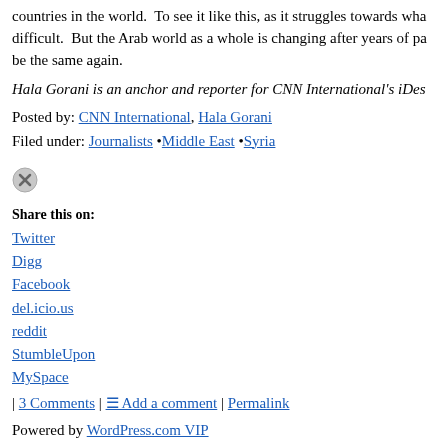countries in the world.  To see it like this, as it struggles towards wha difficult.  But the Arab world as a whole is changing after years of pa be the same again.
Hala Gorani is an anchor and reporter for CNN International's iDes
Posted by: CNN International, Hala Gorani
Filed under: Journalists •Middle East •Syria
[Figure (other): Close/remove icon (circled X button)]
Share this on:
Twitter
Digg
Facebook
del.icio.us
reddit
StumbleUpon
MySpace
| 3 Comments | Add a comment | Permalink
Powered by WordPress.com VIP